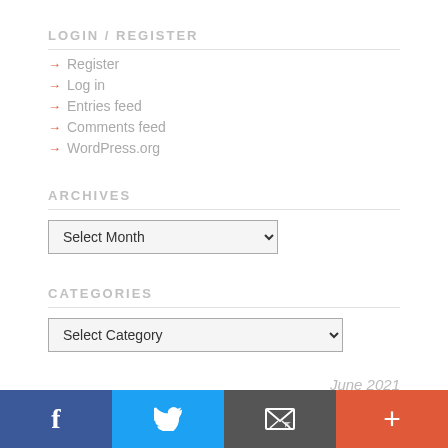LOGIN / REGISTER
Register
Log in
Entries feed
Comments feed
WordPress.org
ARCHIVES
Select Month
CATEGORIES
Select Category
June 2021
[Figure (screenshot): Bottom social/share bar with Facebook, Twitter, email, and plus buttons]